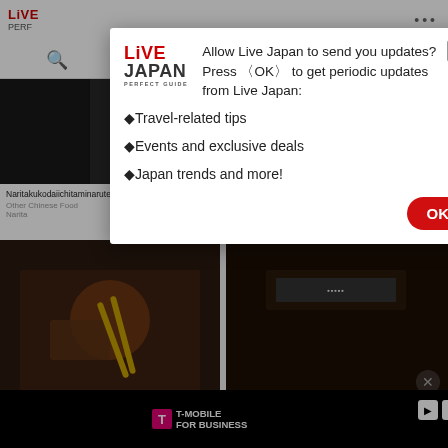[Figure (screenshot): Live Japan Perfect Guide website screenshot with notification permission modal overlay. Modal contains Live Japan logo, prompt text asking to allow notifications, list of benefits, and OK button.]
Allow Live Japan to send you updates?Press ‹OK› to get periodic updates from Live Japan:
•Travel-related tips
•Events and exclusive deals
•Japan trends and more!
Naritakukodaiichitaminaruten
Naritakukodainitaminaruten
Other Chinese Food
Narita
Other Chinese Food
Narita
T-MOBILE FOR BUSINESS